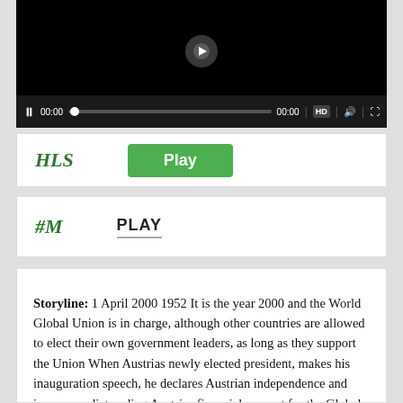[Figure (screenshot): Video player with black screen, play controls showing 00:00 timestamp, HD button, volume and fullscreen icons]
HLS   Play
#M   PLAY
Storyline: 1 April 2000 1952 It is the year 2000 and the World Global Union is in charge, although other countries are allowed to elect their own government leaders, as long as they support the Union When Austrias newly elected president, makes his inauguration speech, he declares Austrian independence and issues an edict ending Austrias financial support for the Global Union The Global Union President arrives in a flying saucer with her retinue of world soldiers, equipped with death ray guns, to put an end to the rebellion The...